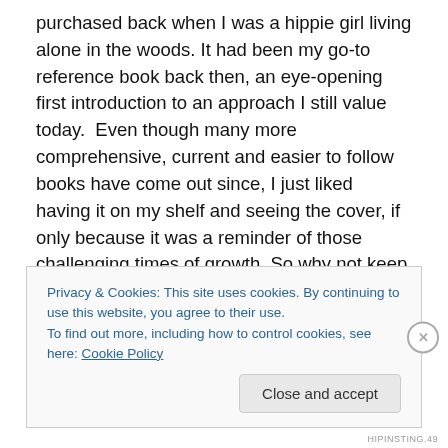purchased back when I was a hippie girl living alone in the woods. It had been my go-to reference book back then, an eye-opening first introduction to an approach I still value today.  Even though many more comprehensive, current and easier to follow books have come out since, I just liked having it on my shelf and seeing the cover, if only because it was a reminder of those challenging times of growth. So why not keep it? It was small enough that it didn't command much room.
The issue was that since its publication there has actually
Privacy & Cookies: This site uses cookies. By continuing to use this website, you agree to their use.
To find out more, including how to control cookies, see here: Cookie Policy